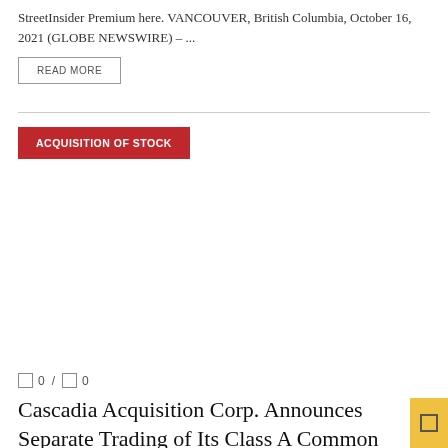StreetInsider Premium here. VANCOUVER, British Columbia, October 16, 2021 (GLOBE NEWSWIRE) – ...
READ MORE
ACQUISITION OF STOCK
0 / 0
Cascadia Acquisition Corp. Announces Separate Trading of Its Class A Common Shares and